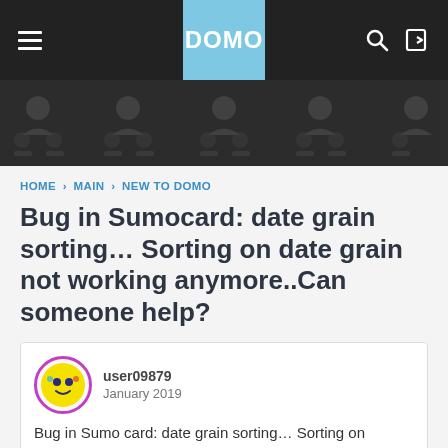DOMO
[Figure (illustration): Dark banner with user avatar silhouettes repeated across]
HOME › MAIN › NEW TO DOMO
Bug in Sumocard: date grain sorting... Sorting on date grain not working anymore..Can someone help?
user09879
January 2019
Bug in Sumo card: date grain sorting... Sorting on